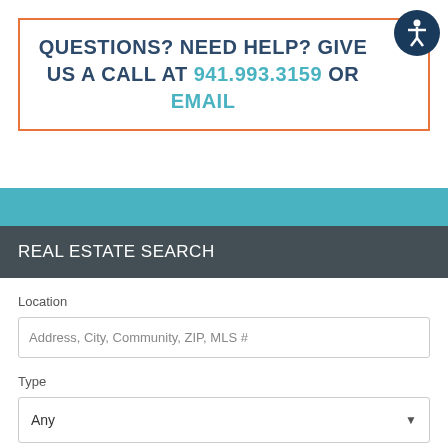QUESTIONS? NEED HELP? GIVE US A CALL AT 941.993.3159 OR EMAIL
[Figure (illustration): Accessibility icon — white figure with arms extended inside a dark blue circle]
REAL ESTATE SEARCH
Location
Address, City, Community, ZIP, MLS #
Type
Any